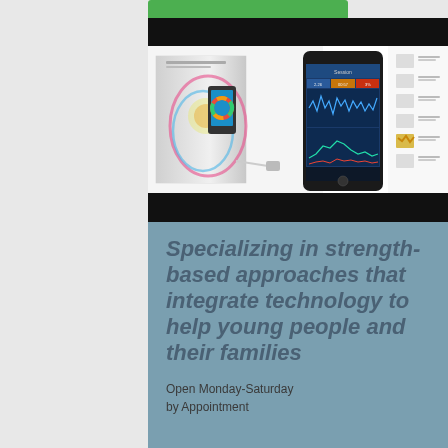[Figure (photo): Product photo showing Inner Balance biofeedback device box and a smartphone displaying a biofeedback app session with waveform charts, alongside a vertical sidebar showing app feature icons]
Specializing in strength-based approaches that integrate technology to help young people and their families
Open Monday-Saturday by Appointment